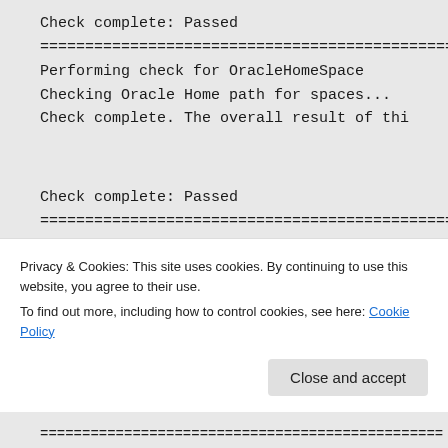Check complete: Passed
================================================
Performing check for OracleHomeSpace
Checking Oracle Home path for spaces...
Check complete. The overall result of thi
Check complete: Passed
================================================
Performing check for DetectAnyInvalidASMH
Checking for proper system clean up
Privacy & Cookies: This site uses cookies. By continuing to use this website, you agree to their use.
To find out more, including how to control cookies, see here: Cookie Policy
Close and accept
================================================